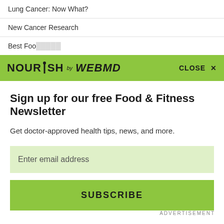Lung Cancer: Now What?
New Cancer Research
Best Foo...
[Figure (logo): NOURISH by WebMD logo on green banner with CLOSE X button]
Sign up for our free Food & Fitness Newsletter
Get doctor-approved health tips, news, and more.
Enter email address
SUBSCRIBE
ADVERTISEMENT